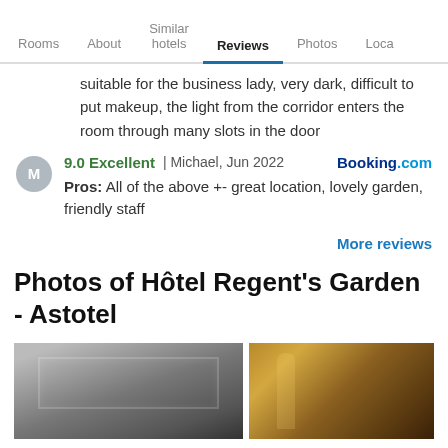Rooms | About | Similar hotels | Reviews | Photos | Location
suitable for the business lady, very dark, difficult to put makeup, the light from the corridor enters the room through many slots in the door
9.0 Excellent | Michael, Jun 2022  Booking.com
Pros: All of the above +- great location, lovely garden, friendly staff
More reviews
Photos of Hôtel Regent's Garden - Astotel
[Figure (photo): Black and white photo of hotel room ceiling with recessed rectangular detail]
[Figure (photo): Photo of hotel corridor with warm lighting and arched doorway]